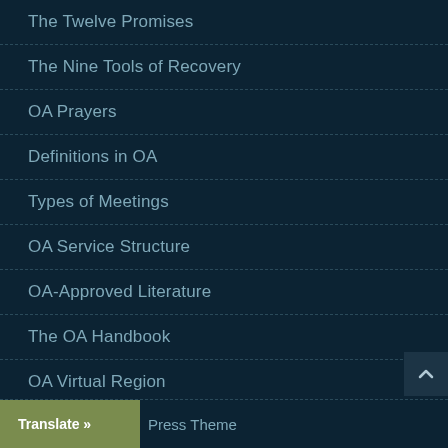The Twelve Promises
The Nine Tools of Recovery
OA Prayers
Definitions in OA
Types of Meetings
OA Service Structure
OA-Approved Literature
The OA Handbook
OA Virtual Region
Overeaters Anonymous WSO
Translate » Press Theme